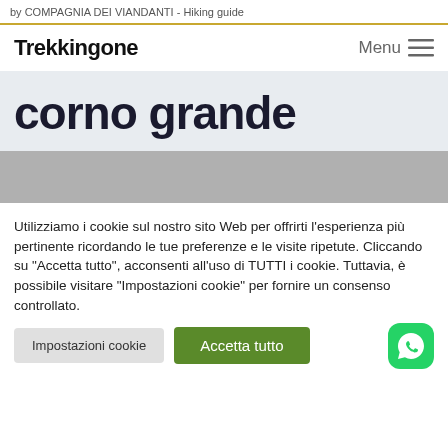by COMPAGNIA DEI VIANDANTI - Hiking guide
Trekkingone
Menu
corno grande
Utilizziamo i cookie sul nostro sito Web per offrirti l'esperienza più pertinente ricordando le tue preferenze e le visite ripetute. Cliccando su "Accetta tutto", acconsenti all'uso di TUTTI i cookie. Tuttavia, è possibile visitare "Impostazioni cookie" per fornire un consenso controllato.
Impostazioni cookie
Accetta tutto